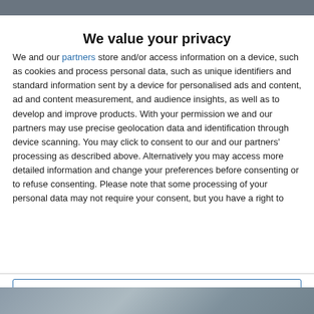[Website header – blurred/cropped]
We value your privacy
We and our partners store and/or access information on a device, such as cookies and process personal data, such as unique identifiers and standard information sent by a device for personalised ads and content, ad and content measurement, and audience insights, as well as to develop and improve products. With your permission we and our partners may use precise geolocation data and identification through device scanning. You may click to consent to our and our partners' processing as described above. Alternatively you may access more detailed information and change your preferences before consenting or to refuse consenting. Please note that some processing of your personal data may not require your consent, but you have a right to
AGREE
MORE OPTIONS
[Figure (photo): Bottom portion of webpage visible beneath consent dialog – appears to show a dark nature or landscape photograph, partially cropped]